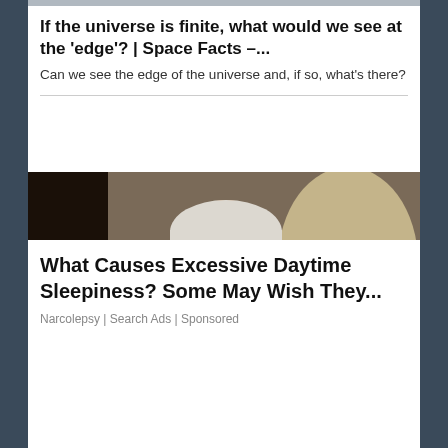If the universe is finite, what would we see at the ‘edge’? | Space Facts –...
Can we see the edge of the universe and, if so, what's there?
[Figure (photo): Elderly man with white hair and glasses, sleeping in an armchair with arms crossed, wearing a dark brown sweater]
What Causes Excessive Daytime Sleepiness? Some May Wish They...
Narcolepsy | Search Ads | Sponsored